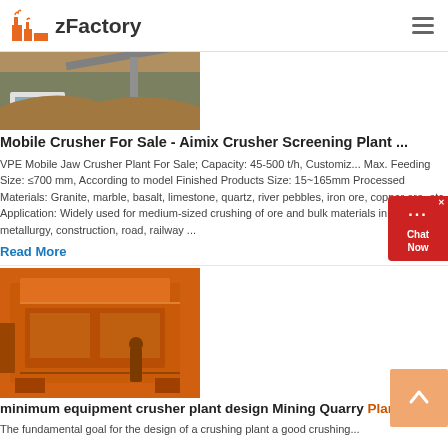zFactory
[Figure (photo): Mobile crusher equipment at a construction/mining site, equipment mounted on a truck, dirt/excavation background]
Mobile Crusher For Sale - Aimix Crusher Screening Plant ...
VPE Mobile Jaw Crusher Plant For Sale; Capacity: 45-500 t/h, Customiz... Max. Feeding Size: ≤700 mm, According to model Finished Products Size: 15~165mm Processed Materials: Granite, marble, basalt, limestone, quartz, river pebbles, iron ore, copper ore, etc. Application: Widely used for medium-sized crushing of ore and bulk materials in mining, metallurgy, construction, road, railway ...
Read More
[Figure (photo): Large orange impact crusher machine, industrial mining/quarry equipment]
minimum equipment crusher plant design Mining Quarry Plant
The fundamental goal for the design of a crushing plant a good crushing...